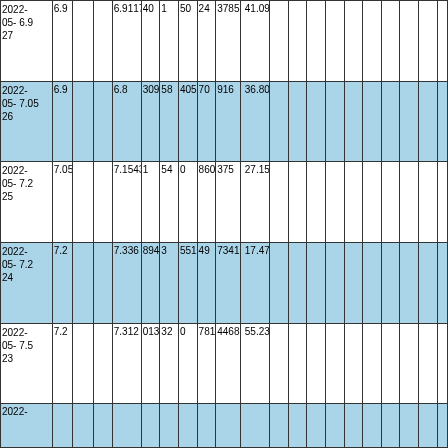| 2022-05-27 | 6.9 | 6.9 |  | 6.9117 | 40 | 1 | 50 | 24 | 3785 | 41.09 |  |  |  |  |  |  |  |  |  |  |
| 2022-05-26 | 7.05 | 6.9 |  | 6.8 | 309 | 58 | 405 | 70 | 916 | 36.80 |  |  |  |  |  |  |  |  |  |  |
| 2022-05-25 | 7.2 | 7.05 |  | 7.1543 | 1 | 54 | 0 | 860 | 375 | 27.15 |  |  |  |  |  |  |  |  |  |  |
| 2022-05-24 | 7.2 | 7.2 |  | 7.336 | 894 | 3 | 551 | 49 | 7341 | 17.47 |  |  |  |  |  |  |  |  |  |  |
| 2022-05-23 | 7.5 | 7.2 |  | 7.312 | 013 | 32 | 0 | 781 | 44687 | 55.23 |  |  |  |  |  |  |  |  |  |  |
| 2022- |  |  |  |  |  |  |  |  |  |  |  |  |  |  |  |  |  |  |  |  |